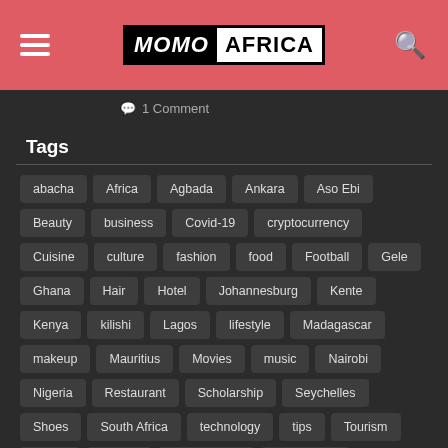MOMO AFRICA
1 Comment
Tags
abacha
Africa
Agbada
Ankara
Aso Ebi
Beauty
business
Covid-19
cryptocurrency
Cuisine
culture
fashion
food
Football
Gele
Ghana
Hair
Hotel
Johannesburg
Kente
Kenya
kilishi
Lagos
lifestyle
Madagascar
makeup
Mauritius
Movies
music
Nairobi
Nigeria
Restaurant
Scholarship
Seychelles
Shoes
South Africa
technology
tips
Tourism
Travel
Tunisia
Victoria Falls
weight loss
world cup